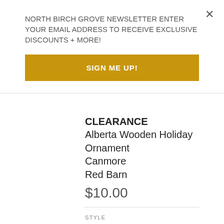NORTH BIRCH GROVE NEWSLETTER ENTER YOUR EMAIL ADDRESS TO RECEIVE EXCLUSIVE DISCOUNTS + MORE!
SIGN ME UP!
CLEARANCE Alberta Wooden Holiday Ornament Canmore Red Barn
$10.00
STYLE
Canmore Red Barn